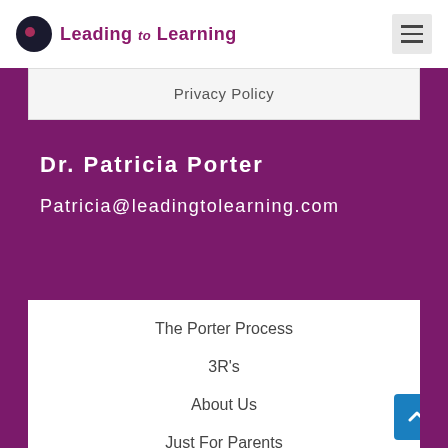Leading to Learning
Privacy Policy
Dr. Patricia Porter
Patricia@leadingtolearning.com
The Porter Process
3R's
About Us
Just For Parents
Resources
Blogs